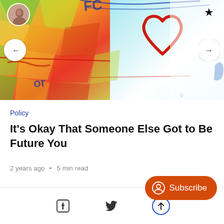[Figure (photo): Colorful abstract art image with a hand-drawn red heart outline, bright geometric color patches in green, orange, red, yellow on the left, fading to white/blue on the right. Small circular avatar photo of a person in top-left corner. Black star/bookmark icon in top-right. Navigation arrows on left and right sides.]
Policy
It's Okay That Someone Else Got to Be Future You
2 years ago • 5 min read